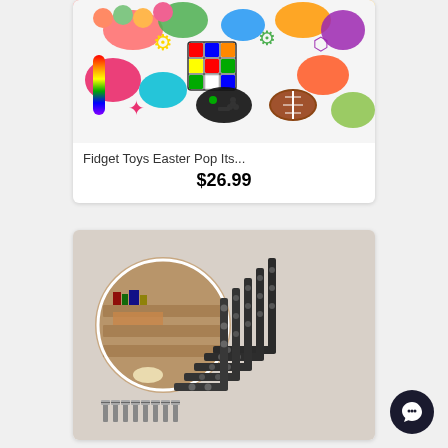[Figure (photo): Product listing card for Fidget Toys Easter Pop Its with colorful toy image]
Fidget Toys Easter Pop Its...
$26.99
[Figure (photo): Product listing card for shelf brackets showing L-shaped metal brackets and a circular inset photo of shelves in use]
[Figure (illustration): Dark circular chat/messaging button in bottom right corner]